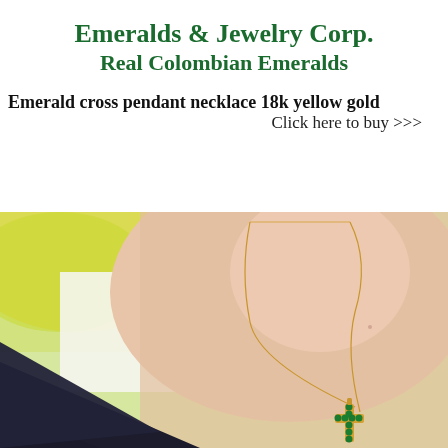Emeralds & Jewelry Corp.
Real Colombian Emeralds
Emerald cross pendant necklace 18k yellow gold
Click here to buy >>>
[Figure (photo): Photo of a woman wearing an emerald cross pendant necklace on an 18k yellow gold chain. The cross pendant features green emerald gemstones arranged in a cross pattern. The model is wearing a dark top and the photo has a bright natural background.]